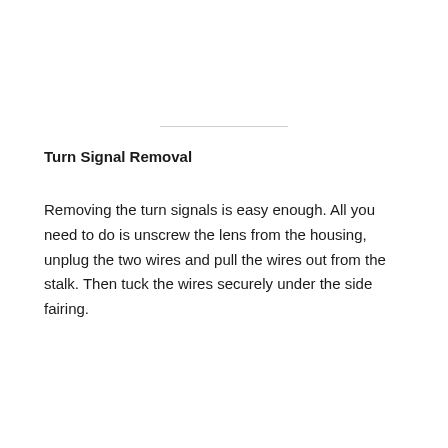Turn Signal Removal
Removing the turn signals is easy enough. All you need to do is unscrew the lens from the housing, unplug the two wires and pull the wires out from the stalk. Then tuck the wires securely under the side fairing.